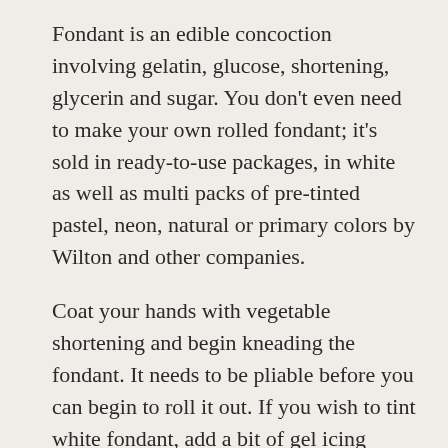Fondant is an edible concoction involving gelatin, glucose, shortening, glycerin and sugar. You don't even need to make your own rolled fondant; it's sold in ready-to-use packages, in white as well as multi packs of pre-tinted pastel, neon, natural or primary colors by Wilton and other companies.
Coat your hands with vegetable shortening and begin kneading the fondant. It needs to be pliable before you can begin to roll it out. If you wish to tint white fondant, add a bit of gel icing color applied with a toothpick in several areas of the piece of fondant (and don't double-dip your toothpick or it will contaminate the jar!) You could also choose to combine one color of fondant with another, kneading until the color is even, or leaving it with a marbled look. For example, if you find the ready-to-use green fondant too intense, simply knead it together with some white fondant.